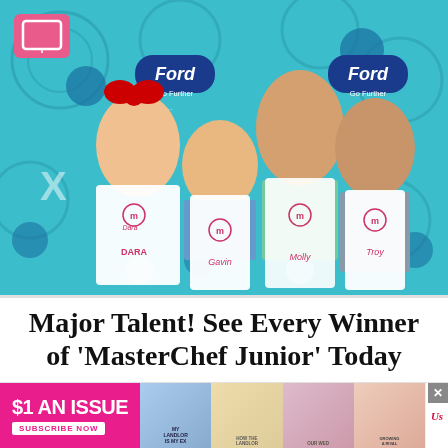[Figure (photo): Four children in white MasterChef Junior aprons posing together in front of a teal/blue decorative backdrop with Ford and Time Warner Cable logos. The children are identified by name tags: Dara (Asian girl with red Hello Kitty bow), Gavin (boy in blue shirt), Molly (tall girl), and Troy (boy on right with long hair).]
Major Talent! See Every Winner of 'MasterChef Junior' Today
[Figure (infographic): Advertisement banner: '$1 AN ISSUE' in white text on pink background with 'SUBSCRIBE NOW' button, alongside US Weekly magazine cover thumbnails. An X close button appears in the top right.]